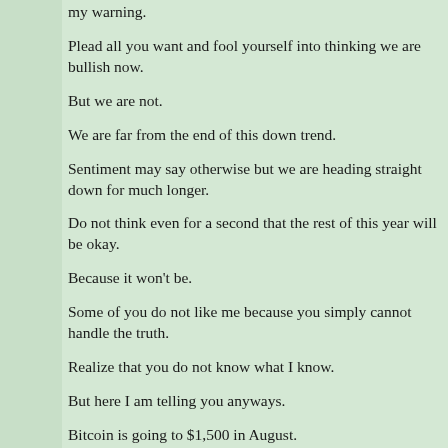my warning.
Plead all you want and fool yourself into thinking we are bullish now.
But we are not.
We are far from the end of this down trend.
Sentiment may say otherwise but we are heading straight down for much longer.
Do not think even for a second that the rest of this year will be okay.
Because it won't be.
Some of you do not like me because you simply cannot handle the truth.
Realize that you do not know what I know.
But here I am telling you anyways.
Bitcoin is going to $1,500 in August.